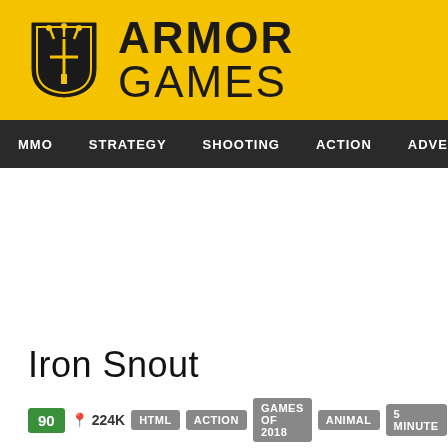[Figure (logo): Armor Games logo with yellow background, shield icon and site name]
MMO  STRATEGY  SHOOTING  ACTION  ADVENTURE  P
Iron Snout
90  224K  HTML  ACTION  GAMES OF 2018  ANIMAL  5 MINUTE